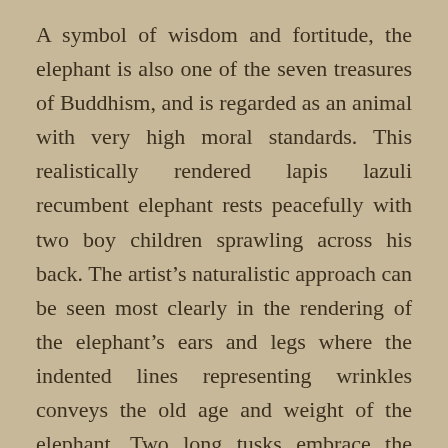A symbol of wisdom and fortitude, the elephant is also one of the seven treasures of Buddhism, and is regarded as an animal with very high moral standards. This realistically rendered lapis lazuli recumbent elephant rests peacefully with two boy children sprawling across his back. The artist's naturalistic approach can be seen most clearly in the rendering of the elephant's ears and legs where the indented lines representing wrinkles conveys the old age and weight of the elephant. Two long tusks embrace the curled trunk of the animal. The elephant's form suggests the great strength and astuteness of this animal.
Boulders of lapis lazuli of this size and color are rare in nature and seldom seen. The lapis stone is